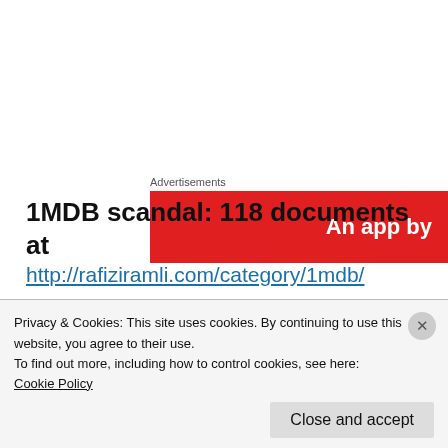[Figure (other): Red advertisement banner with white text 'An app by']
1MDB scandal: 118 documents at http://rafiziramli.com/category/1mdb/
Felda scandal: 47 documents at http://rafiziramli.com/category/felda/
Privacy & Cookies: This site uses cookies. By continuing to use this website, you agree to their use.
To find out more, including how to control cookies, see here: Cookie Policy
Close and accept